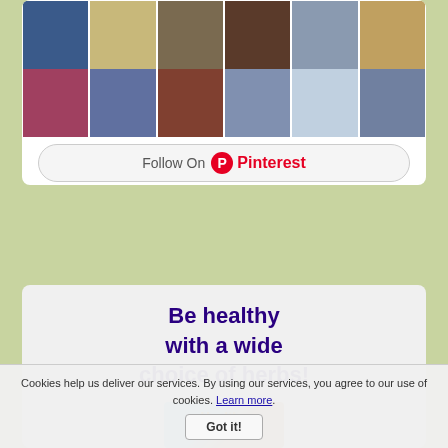[Figure (photo): Pinterest image grid showing various teapots and tea sets in a mosaic layout]
Follow On Pinterest
Be healthy with a wide choice of herbs!
[Figure (photo): Herb/health product promotional image with text 'Healthy Natural']
Cookies help us deliver our services. By using our services, you agree to our use of cookies. Learn more.
Got it!